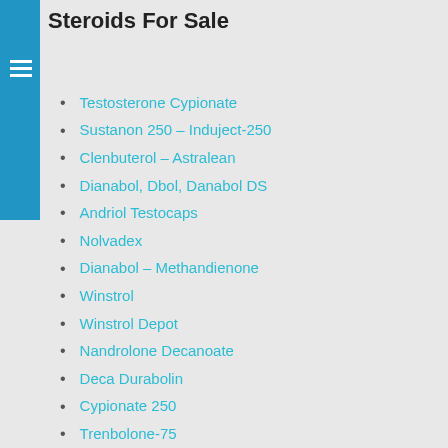Steroids For Sale
Testosterone Cypionate
Sustanon 250 – Induject-250
Clenbuterol – Astralean
Dianabol, Dbol, Danabol DS
Andriol Testocaps
Nolvadex
Dianabol – Methandienone
Winstrol
Winstrol Depot
Nandrolone Decanoate
Deca Durabolin
Cypionate 250
Trenbolone-75
Proviron
Anadrol
Testodex Cypionate 250
Testodex Enanthate 250
Anavar – OxanPrime
Testabol Enanthate